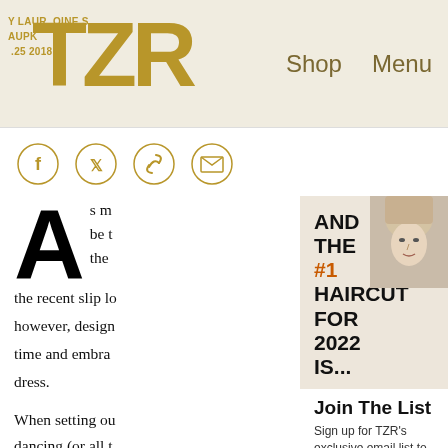TZR — Y LAURA LQUINESS AUPK... .25 2018 — Shop   Menu
[Figure (infographic): Social sharing icons: Facebook, Twitter, link/chain, envelope — gold circle outlines]
A s m... be t... the recent slip lo however, design... time and embra... dress.
When setting ou... dancing (or all t...
[Figure (infographic): AND THE #1 HAIRCUT FOR 2022 IS... — overlay popup with woman's face photo]
Join The List
Sign up for TZR's exclusive email list to uncover this season's top trends
Email address   Subscribe